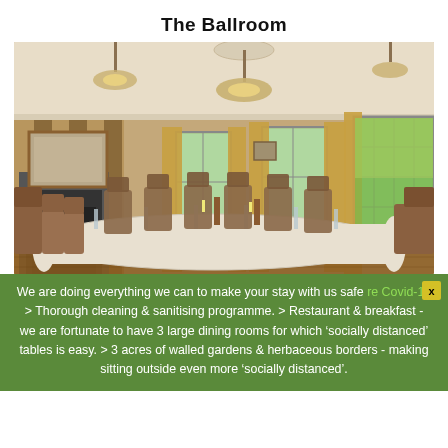The Ballroom
[Figure (photo): Interior photo of The Ballroom showing a long formal dining table set with white tablecloths, glassware and place settings, surrounded by upholstered chairs. The room has striped wallpaper, a fireplace with mirror, large windows with golden curtains, and crystal chandeliers.]
We are doing everything we can to make your stay with us safe re Covid-19 > Thorough cleaning & sanitising programme. > Restaurant & breakfast - we are fortunate to have 3 large dining rooms for which ‘socially distanced’ tables is easy. > 3 acres of walled gardens & herbaceous borders - making sitting outside even more ‘socially distanced’.